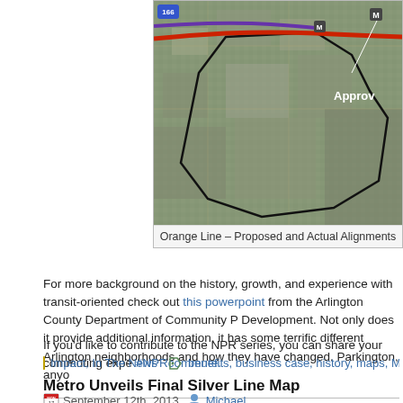[Figure (map): Aerial/satellite map showing Orange Line – Proposed and Actual Alignments with colored transit lines overlaid on Arlington area neighborhoods]
Orange Line – Proposed and Actual Alignments
For more background on the history, growth, and experience with transit-oriented check out this powerpoint from the Arlington County Department of Community P Development. Not only does it provide additional information, it has some terrific different Arlington neighborhoods and how they have changed. Parkington, anyo
If you'd like to contribute to the NPR series, you can share your commuting expe #NPRcommute.
Yesterday's NPR story was the first in a multi-part series on how communities are challenges.
Impact, In The News   benefits, business case, history, maps, Metrorail, plannin
Metro Unveils Final Silver Line Map
September 12th, 2013   Michael
Metro is pleased to release the update to the Metrorail system map that sho Line in service and phase 2 under construction.